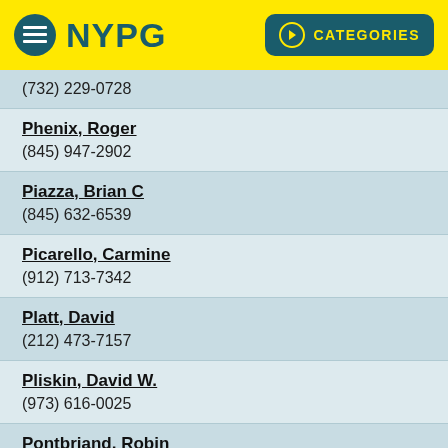NYPG | CATEGORIES
(732) 229-0728
Phenix, Roger
(845) 947-2902
Piazza, Brian C
(845) 632-6539
Picarello, Carmine
(912) 713-7342
Platt, David
(212) 473-7157
Pliskin, David W.
(973) 616-0025
Pontbriand, Robin
(646) 639-7467